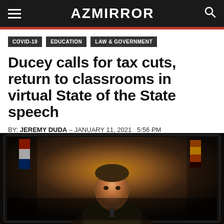AZ MIRROR
COVID-19
EDUCATION
LAW & GOVERNMENT
Ducey calls for tax cuts, return to classrooms in virtual State of the State speech
BY: JEREMY DUDA – JANUARY 11, 2021   5:56 PM
[Figure (photo): A person appearing on a screen or monitor, photographed in a dark room setting, with flags visible in the background. Appears to be Arizona Governor Doug Ducey delivering a virtual address.]